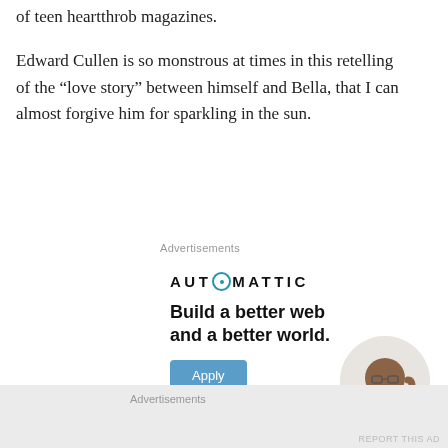of teen heartthrob magazines.
Edward Cullen is so monstrous at times in this retelling of the “love story” between himself and Bella, that I can almost forgive him for sparkling in the sun.
Advertisements
[Figure (infographic): Automattic advertisement: logo with circular O, tagline 'Build a better web and a better world.', Apply button, person thinking in circular photo]
Advertisements